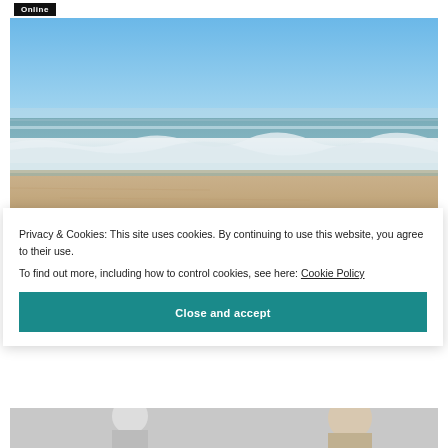Online
[Figure (photo): Beach scene with blue sky, ocean waves, and sandy shore]
Privacy & Cookies: This site uses cookies. By continuing to use this website, you agree to their use.
To find out more, including how to control cookies, see here: Cookie Policy
Close and accept
[Figure (photo): Bottom portion of another photo, partially visible]